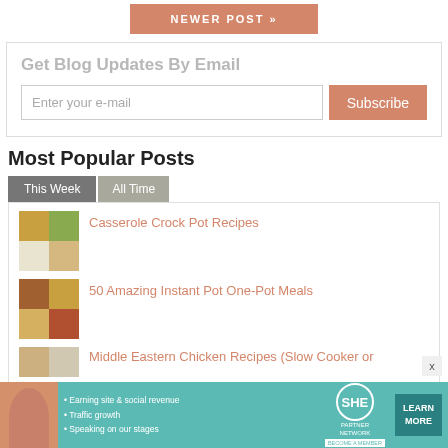[Figure (other): Salmon/terracotta colored button with text NEWER POST >>]
Get Blog Updates By Email
Enter your e-mail | Subscribe
Most Popular Posts
This Week | All Time
Casserole Crock Pot Recipes
50 Amazing Instant Pot One-Pot Meals
Middle Eastern Chicken Recipes (Slow Cooker or
[Figure (infographic): SHE Partner Network advertisement banner with woman photo, bullet points about earning site & social revenue, traffic growth, speaking on our stages, SHE logo, LEARN MORE button, BECOME A MEMBER label]